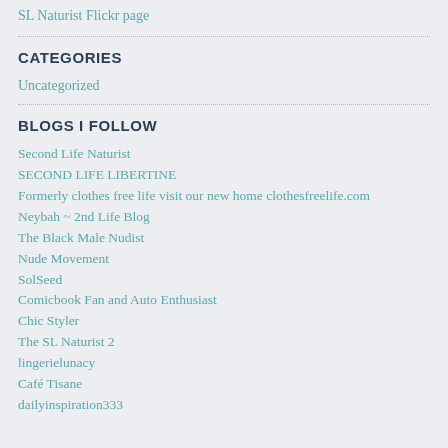SL Naturist Flickr page
CATEGORIES
Uncategorized
BLOGS I FOLLOW
Second Life Naturist
SECOND LIFE LIBERTINE
Formerly clothes free life visit our new home clothesfreelife.com
Neybah ~ 2nd Life Blog
The Black Male Nudist
Nude Movement
SolSeed
Comicbook Fan and Auto Enthusiast
Chic Styler
The SL Naturist 2
lingerielunacy
Café Tisane
dailyinspiration333